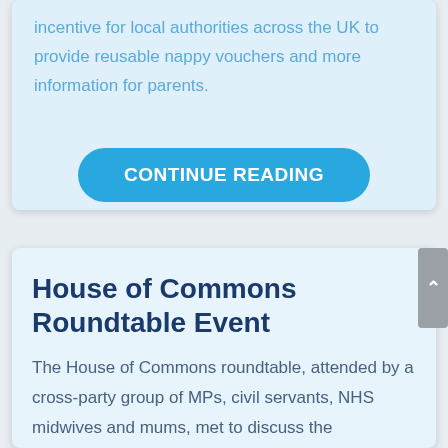incentive for local authorities across the UK to provide reusable nappy vouchers and more information for parents.
CONTINUE READING
House of Commons Roundtable Event
The House of Commons roundtable, attended by a cross-party group of MPs, civil servants, NHS midwives and mums, met to discuss the